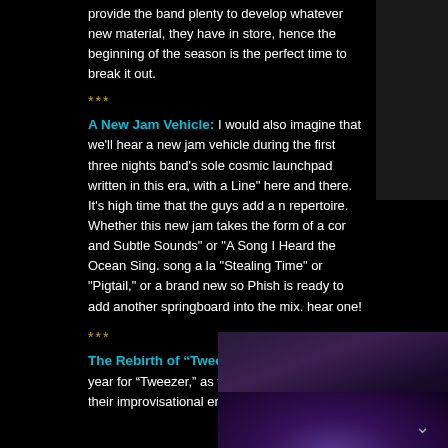provide the band plenty to develop whatever new material, they have in store, hence the beginning of the season is the perfect time to break it out.
***
A New Jam Vehicle: I would also imagine that we'll hear a new jam vehicle during the first three nights band's sole cosmic launchpad written in this era, with a Line" here and there. It's high time that the guys add a n repertoire. Whether this new jam takes the form of a cor and Subtle Sounds" or "A Song I Heard the Ocean Sing. song a la "Stealing Time" or "Pigtail," or a brand new so Phish is ready to add another springboard into the mix. hear one!
***
The Rebirth of “Tweezer”: 2010 was a tough year for “Tweezer,” as the band rarely focused their improvisational energies on the
[Figure (photo): Partial image on the right side, dark background]
[Figure (photo): Concert crowd photo with purple stage lighting]